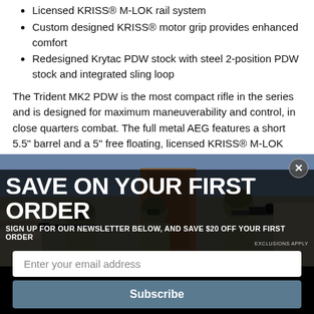Licensed KRISS® M-LOK rail system
Custom designed KRISS® motor grip provides enhanced comfort
Redesigned Krytac PDW stock with steel 2-position PDW stock and integrated sling loop
The Trident MK2 PDW is the most compact rifle in the series and is designed for maximum maneuverability and control, in close quarters combat. The full metal AEG features a short 5.5" barrel and a 5" free floating, licensed KRISS® M-LOK hand guard. The KRISS® hand guard features three prongs at the front that can be used to brace the gun
[Figure (photo): Photo of military/tactical operators in camouflage gear with rifles, used as background for a promotional newsletter signup overlay]
SAVE ON YOUR FIRST ORDER
SIGN UP FOR OUR NEWSLETTER BELOW, AND SAVE $20 OFF YOUR FIRST ORDER
EXCLUSIONS APPLY
Enter your email address
Subscribe